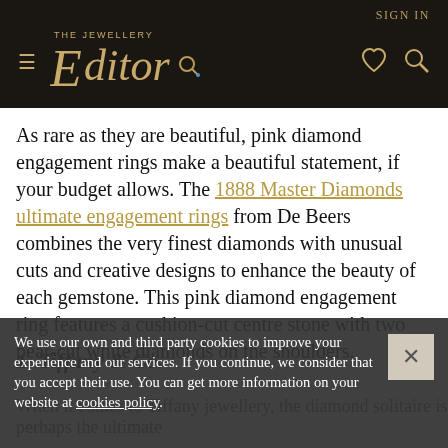THE JEWELLERY EDITOR | SIGN IN
As rare as they are beautiful, pink diamond engagement rings make a beautiful statement, if your budget allows. The 1888 Master Diamonds ultimate engagement rings from De Beers combines the very finest diamonds with unusual cuts and creative designs to enhance the beauty of each gemstone. This pink diamond engagement ring features a cushion-cut centre stone with two pear-cut white diamonds on the shoulders.
We use our own and third party cookies to improve your experience and our services. If you continue, we consider that you accept their use. You can get more information on your website at cookies policy.
1. Tiffany & Co.
When it comes to Tiffany jewellery, the diamond solitaire is perhaps the ultimate